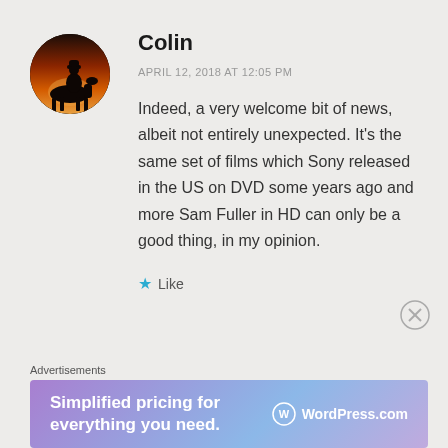[Figure (photo): Circular avatar image of a cowboy silhouette on horseback against a dramatic sunset sky]
Colin
APRIL 12, 2018 AT 12:05 PM
Indeed, a very welcome bit of news, albeit not entirely unexpected. It's the same set of films which Sony released in the US on DVD some years ago and more Sam Fuller in HD can only be a good thing, in my opinion.
Like
Advertisements
[Figure (screenshot): WordPress.com advertisement banner: 'Simplified pricing for everything you need.' with WordPress.com logo on gradient purple-blue background]